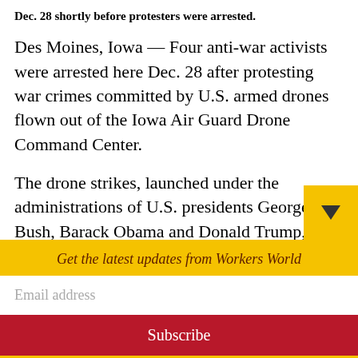Dec. 28 shortly before protesters were arrested.
Des Moines, Iowa — Four anti-war activists were arrested here Dec. 28 after protesting war crimes committed by U.S. armed drones flown out of the Iowa Air Guard Drone Command Center.
The drone strikes, launched under the administrations of U.S. presidents George W. Bush, Barack Obama and Donald Trump, are responsible for thousands of deaths. According to the Bureau of Investigative
Get the latest updates from Workers World
Email address
Subscribe